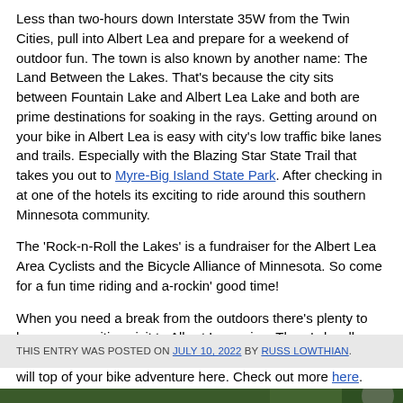Less than two-hours down Interstate 35W from the Twin Cities, pull into Albert Lea and prepare for a weekend of outdoor fun. The town is also known by another name: The Land Between the Lakes. That's because the city sits between Fountain Lake and Albert Lea Lake and both are prime destinations for soaking in the rays. Getting around on your bike in Albert Lea is easy with city's low traffic bike lanes and trails. Especially with the Blazing Star State Trail that takes you out to Myre-Big Island State Park. After checking in at one of the hotels its exciting to ride around this southern Minnesota community.
The 'Rock-n-Roll the Lakes' is a fundraiser for the Albert Lea Area Cyclists and the Bicycle Alliance of Minnesota. So come for a fun time riding and a-rockin' good time!
When you need a break from the outdoors there's plenty to keep your exciting visit to Albert Lea going. There's locally owned shops, one-of-a-kind restaurants and the area history will top of your bike adventure here. Check out more here.
THIS ENTRY WAS POSTED ON JULY 10, 2022 BY RUSS LOWTHIAN.
[Figure (photo): Bottom strip showing outdoor/nature photo (dark green foliage visible)]